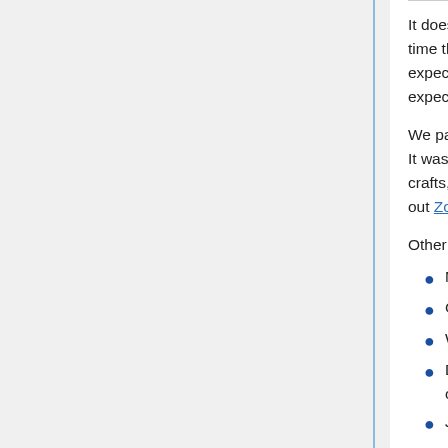It doesn't matter what technology you pick - it has to work for your group. The first time they join is no different than the first meeting or camp - they don't know what to expect, they are overly excited or anxious - let them explore a bit and then set expectations.
We paid for Zoom because we didn't want parents to stand by at the 40-minute mark. It was the best $20 we have spent in a long time, and still cheaper than monthly crafts, camps, snacks, etc. or whatever other expenses we no longer have. Check out Zoom Basics with Steve Dotto 🔒
Other technologies that might work for you:
Microsoft Teams
Google Hangouts, Duo, etc.
WebEx
Discord (it's a great way to hook in the gamers in your group, as well as get others interested)
Jitsi - free, but security not as good. e.g.